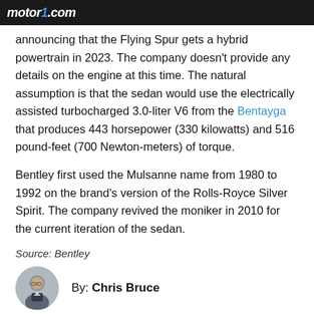Motor1.com
announcing that the Flying Spur gets a hybrid powertrain in 2023. The company doesn't provide any details on the engine at this time. The natural assumption is that the sedan would use the electrically assisted turbocharged 3.0-liter V6 from the Bentayga that produces 443 horsepower (330 kilowatts) and 516 pound-feet (700 Newton-meters) of torque.
Bentley first used the Mulsanne name from 1980 to 1992 on the brand's version of the Rolls-Royce Silver Spirit. The company revived the moniker in 2010 for the current iteration of the sedan.
Source: Bentley
By: Chris Bruce